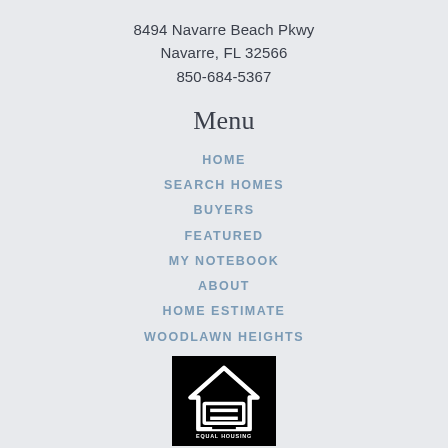8494 Navarre Beach Pkwy
Navarre, FL 32566
850-684-5367
Menu
HOME
SEARCH HOMES
BUYERS
FEATURED
MY NOTEBOOK
ABOUT
HOME ESTIMATE
WOODLAWN HEIGHTS
[Figure (logo): Equal Housing Opportunity logo — white house icon with equal sign on black background, text reads EQUAL HOUSING OPPORTUNITY]
TERMS OF USE  PRIVACY NOTICE  DMCA